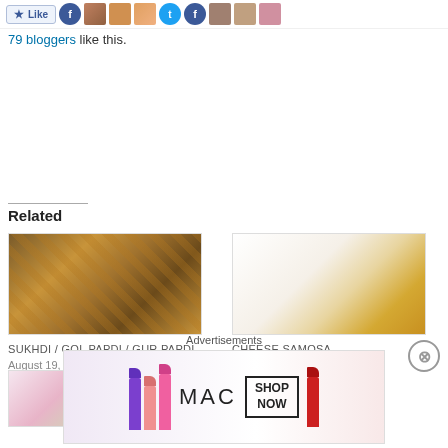[Figure (other): Like button and blogger avatar strip at the top]
79 bloggers like this.
Related
[Figure (photo): Photo of Sukhdi / Gol Papdi / Gur Papdi - diamond shaped sweet snacks on a dark tray]
SUKHDI / GOL PAPDI / GUR PAPDI
August 19, 2017
In "Diwali / Festival Special"
[Figure (photo): Photo of Cheese Samosa - triangular fried pastries on a white plate with dipping sauces]
CHEESE SAMOSA
July 28, 2018
In "Kids Special"
[Figure (photo): Photo of another food item - onions and green chutney visible]
Advertisements
[Figure (other): MAC cosmetics advertisement banner showing lipsticks, MAC logo, and SHOP NOW box]